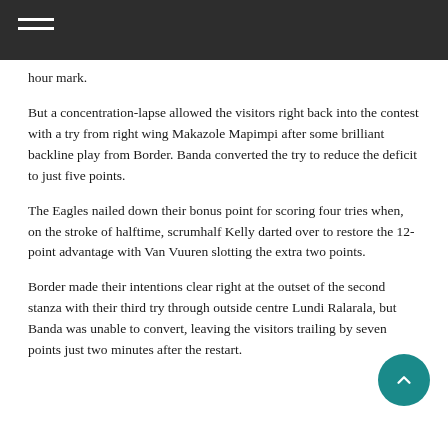hour mark.
But a concentration-lapse allowed the visitors right back into the contest with a try from right wing Makazole Mapimpi after some brilliant backline play from Border. Banda converted the try to reduce the deficit to just five points.
The Eagles nailed down their bonus point for scoring four tries when, on the stroke of halftime, scrumhalf Kelly darted over to restore the 12-point advantage with Van Vuuren slotting the extra two points.
Border made their intentions clear right at the outset of the second stanza with their third try through outside centre Lundi Ralarala, but Banda was unable to convert, leaving the visitors trailing by seven points just two minutes after the restart.